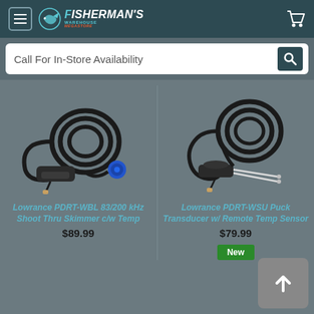Fisherman's Warehouse Megastore - Call For In-Store Availability
[Figure (photo): Lowrance PDRT-WBL transducer with cable coil and blue connector plug]
Lowrance PDRT-WBL 83/200 kHz Shoot Thru Skimmer c/w Temp
$89.99
[Figure (photo): Lowrance PDRT-WSU Puck Transducer with remote temp sensor, cable, and connectors]
Lowrance PDRT-WSU Puck Transducer w/ Remote Temp Sensor
$79.99
New